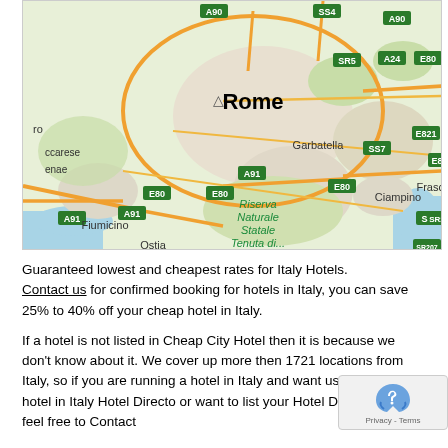[Figure (map): Google Maps view of Rome, Italy showing major roads including A90, SS4, A24, E80, SR5, A91, E821, SS7, SR207, and areas including Garbatella, Ciampino, Frascati, Fiumicino, Ostia, and Riserva Naturale Statale Tenuta di...]
Guaranteed lowest and cheapest rates for Italy Hotels. Contact us for confirmed booking for hotels in Italy, you can save 25% to 40% off your cheap hotel in Italy.
If a hotel is not listed in Cheap City Hotel then it is because we don't know about it. We cover up more then 1721 locations from Italy, so if you are running a hotel in Italy and want us to list your hotel in Italy Hotel Directory or want to list your Hotel Deals, please feel free to Contact